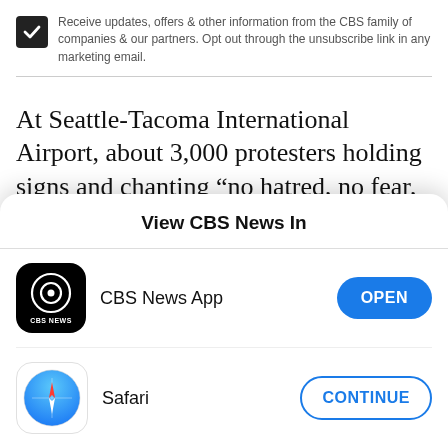Receive updates, offers & other information from the CBS family of companies & our partners. Opt out through the unsubscribe link in any marketing email.
At Seattle-Tacoma International Airport, about 3,000 protesters holding signs and chanting “no hatred, no fear, immigrants are welcome here” and “let them in” gathered Saturday evening and continued demonstrating into early Sunday morning.
View CBS News In
CBS News App
Safari